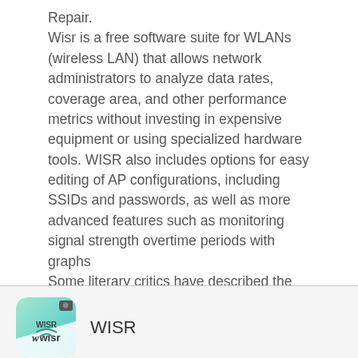Repair.
Wisr is a free software suite for WLANs (wireless LAN) that allows network administrators to analyze data rates, coverage area, and other performance metrics without investing in expensive equipment or using specialized hardware tools. WISR also includes options for easy editing of AP configurations, including SSIDs and passwords, as well as more advanced features such as monitoring signal strength overtime periods with graphs
Some literary critics have described the story as “a radical experiment” because it lacks any
[Figure (logo): WISR app icon: teal/green gradient background with 'wisr' text and a WiFi/bird logo icon, plus a small camera icon in top right corner]
WISR
[Figure (other): Play button triangle pointing right]